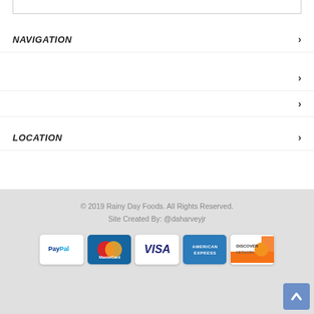NAVIGATION
LOCATION
© 2019 Rainy Day Foods. All Rights Reserved.
Site Created By: @daharveyjr
[Figure (logo): Payment method icons: PayPal, MasterCard, VISA, American Express, Discover Network]